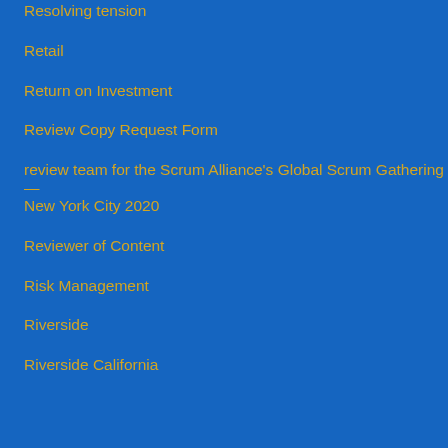Resolving tension
Retail
Return on Investment
Review Copy Request Form
review team for the Scrum Alliance's Global Scrum Gathering—New York City 2020
Reviewer of Content
Risk Management
Riverside
Riverside California